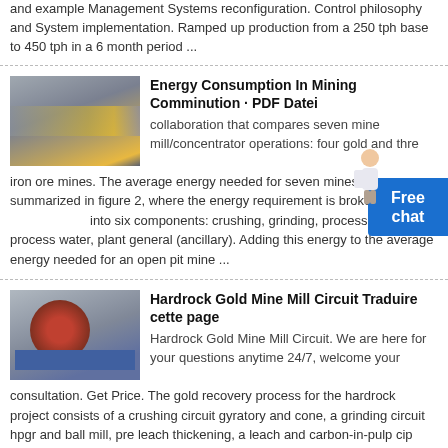and example Management Systems reconfiguration. Control philosophy and System implementation. Ramped up production from a 250 tph base to 450 tph in a 6 month period ...
[Figure (photo): Industrial mining conveyor belt in a warehouse facility]
Energy Consumption In Mining Comminution · PDF Datei
collaboration that compares seven mine mill/concentrator operations: four gold and three iron ore mines. The average energy needed for seven mines is summarized in figure 2, where the energy requirement is broken down into six components: crushing, grinding, processing, tailings, process water, plant general (ancillary). Adding this energy to the average energy needed for an open pit mine ...
[Figure (photo): Free chat widget with customer service figure]
[Figure (photo): Red cone crusher machine in industrial setting]
Hardrock Gold Mine Mill Circuit Traduire cette page
Hardrock Gold Mine Mill Circuit. We are here for your questions anytime 24/7, welcome your consultation. Get Price. The gold recovery process for the hardrock project consists of a crushing circuit gyratory and cone, a grinding circuit hpgr and ball mill, pre leach thickening, a leach and carbon-in-pulp cip circuit, cyanide destruction and tailings disposal, carbon elution and electrowinning ...
[Figure (photo): Industrial mining equipment at bottom of page]